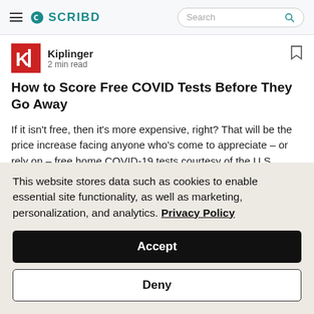Scribd — Search
Kiplinger · 2 min read
How to Score Free COVID Tests Before They Go Away
If it isn't free, then it's more expensive, right? That will be the price increase facing anyone who's come to appreciate – or rely on – free home COVID-19 tests courtesy of the U.S....
This website stores data such as cookies to enable essential site functionality, as well as marketing, personalization, and analytics. Privacy Policy
Accept
Deny